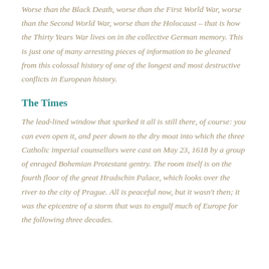Worse than the Black Death, worse than the First World War, worse than the Second World War, worse than the Holocaust – that is how the Thirty Years War lives on in the collective German memory. This is just one of many arresting pieces of information to be gleaned from this colossal history of one of the longest and most destructive conflicts in European history.
The Times
The lead-lined window that sparked it all is still there, of course: you can even open it, and peer down to the dry moat into which the three Catholic imperial counsellors were cast on May 23, 1618 by a group of enraged Bohemian Protestant gentry. The room itself is on the fourth floor of the great Hradschin Palace, which looks over the river to the city of Prague. All is peaceful now, but it wasn't then; it was the epicentre of a storm that was to engulf much of Europe for the following three decades.